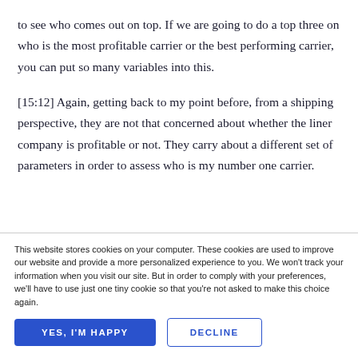to see who comes out on top. If we are going to do a top three on who is the most profitable carrier or the best performing carrier, you can put so many variables into this.
[15:12] Again, getting back to my point before, from a shipping perspective, they are not that concerned about whether the liner company is profitable or not. They carry about a different set of parameters in order to assess who is my number one carrier.
This website stores cookies on your computer. These cookies are used to improve our website and provide a more personalized experience to you. We won't track your information when you visit our site. But in order to comply with your preferences, we'll have to use just one tiny cookie so that you're not asked to make this choice again.
YES, I'M HAPPY
DECLINE